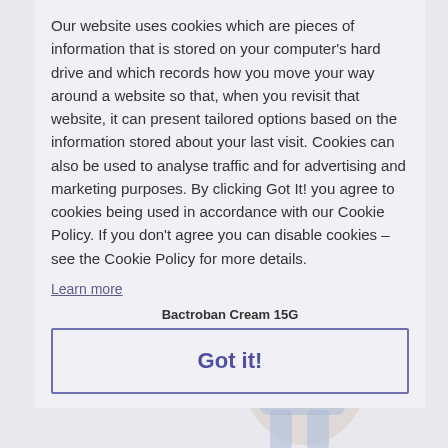Our website uses cookies which are pieces of information that is stored on your computer's hard drive and which records how you move your way around a website so that, when you revisit that website, it can present tailored options based on the information stored about your last visit. Cookies can also be used to analyse traffic and for advertising and marketing purposes. By clicking Got It! you agree to cookies being used in accordance with our Cookie Policy. If you don't agree you can disable cookies – see the Cookie Policy for more details.
Learn more
[Figure (photo): Product image overlaid on text: Bactroban 2% nasal oint - person with cat]
[Figure (photo): Product image overlaid on text: Bactroban Cream 15G - person with cat]
Got it!